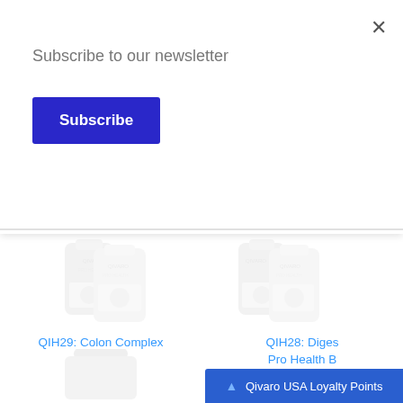Subscribe to our newsletter
Subscribe
×
[Figure (photo): Product image of QIH29: Colon Complex Pro Health by Qivaro supplement bottles, faded/watermark style]
QIH29: Colon Complex Pro Health by Qivaro (120 capsules)
$39.95
[Figure (photo): Partial product image of QIH28: Digestive Pro Health supplement bottles (partially visible), faded/watermark style]
QIH28: Diges… Pro Health B… veggie…
$39…
[Figure (photo): Partial bottom product image, supplement bottle cap visible]
▲ Qivaro USA Loyalty Points